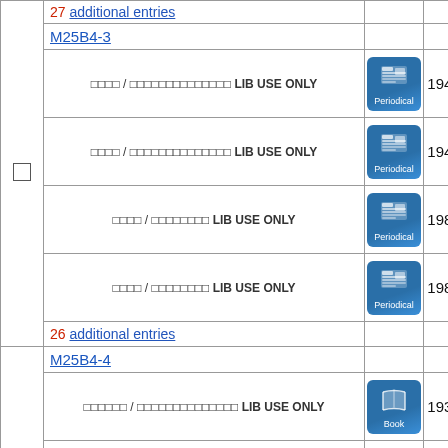|  | Entry | Type | Year |
| --- | --- | --- | --- |
|  | 27 additional entries |  |  |
|  | M25B4-3 |  |  |
|  | □□□□ / □□□□□□□□□□□□□□ LIB USE ONLY | Periodical | 1946 |
|  | □□□□ / □□□□□□□□□□□□□□ LIB USE ONLY | Periodical | 1946 |
|  | □□□□ / □□□□□□□□ LIB USE ONLY | Periodical | 1988 |
|  | □□□□ / □□□□□□□□ LIB USE ONLY | Periodical | 1988 |
|  | 26 additional entries |  |  |
|  | M25B4-4 |  |  |
|  | □□□□□□ / □□□□□□□□□□□□□□ LIB USE ONLY | Book | 1938 |
|  | □□□□ / □□□□□□□□□□ LIB USE ONLY | Book | 1985 |
|  |  | Book |  |